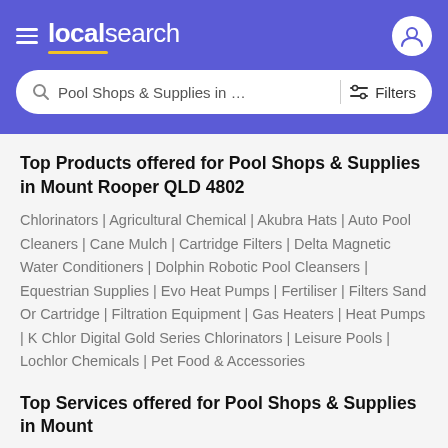localsearch — Pool Shops & Supplies in Mount R... | Filters
Top Products offered for Pool Shops & Supplies in Mount Rooper QLD 4802
Chlorinators | Agricultural Chemical | Akubra Hats | Auto Pool Cleaners | Cane Mulch | Cartridge Filters | Delta Magnetic Water Conditioners | Dolphin Robotic Pool Cleansers | Equestrian Supplies | Evo Heat Pumps | Fertiliser | Filters Sand Or Cartridge | Filtration Equipment | Gas Heaters | Heat Pumps | K Chlor Digital Gold Series Chlorinators | Leisure Pools | Lochlor Chemicals | Pet Food & Accessories
Top Services offered for Pool Shops & Supplies in Mount